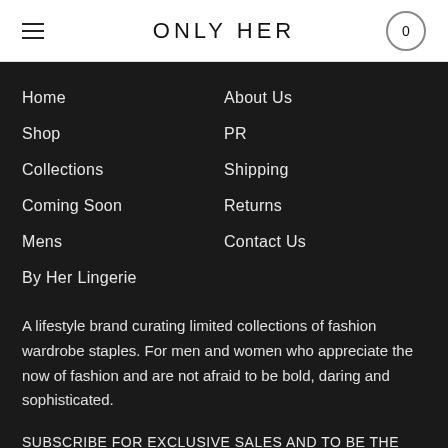ONLY HER
Home
About Us
Shop
PR
Collections
Shipping
Coming Soon
Returns
Mens
Contact Us
By Her Lingerie
A lifestyle brand curating limited collections of fashion wardrobe staples. For men and women who appreciate the now of fashion and are not afraid to be bold, daring and sophisticated.
SUBSCRIBE FOR EXCLUSIVE SALES AND TO BE THE FIRST